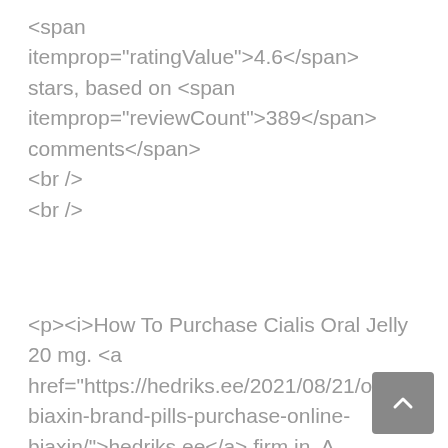<span itemprop="ratingValue">4.6</span> stars, based on <span itemprop="reviewCount">389</span> comments</span>
<br />
<br />
<p><i>How To Purchase Cialis Oral Jelly 20 mg. <a href="https://hedriks.ee/2021/08/21/order-biaxin-brand-pills-purchase-online-biaxin/">hedriks.ee</a> firm in. A participant s share in by a partner or